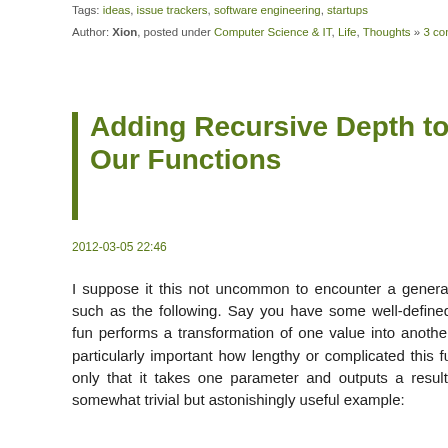Tags: ideas, issue trackers, software engineering, startups
Author: Xion, posted under Computer Science & IT, Life, Thoughts » 3 comments
Adding Recursive Depth to Our Functions
2012-03-05 22:46
I suppose it this not uncommon to encounter a general... such as the following. Say you have some well-defined fun... performs a transformation of one value into another... particularly important how lengthy or complicated this fu... only that it takes one parameter and outputs a result.... somewhat trivial but astonishingly useful example:
[Figure (screenshot): Python code block showing is_true function definition with syntax highlighting, lines 01-08]